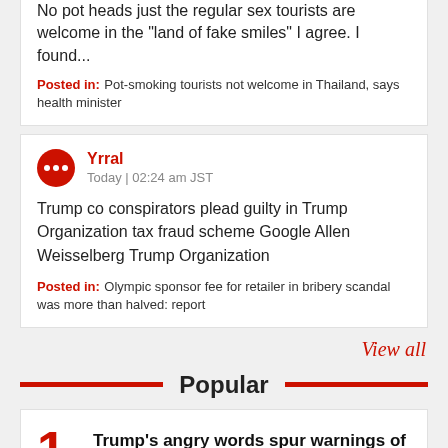No pot heads just the regular sex tourists are welcome in the "land of fake smiles" I agree. I found...
Posted in: Pot-smoking tourists not welcome in Thailand, says health minister
Yrral
Today | 02:24 am JST
Trump co conspirators plead guilty in Trump Organization tax fraud scheme Google Allen Weisselberg Trump Organization
Posted in: Olympic sponsor fee for retailer in bribery scandal was more than halved: report
View all
Popular
1
Trump's angry words spur warnings of real violence
111 COMMENTS
2
Over 100,000 foreign visitors came to Japan in